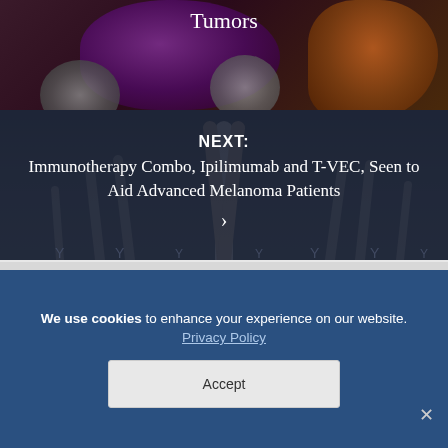Tumors
[Figure (photo): Medical illustration of tumor cells — purple/violet tumor mass with orange tendrils on right, gray spherical cells, against dark background with spike-like immune structures below]
NEXT:
Immunotherapy Combo, Ipilimumab and T-VEC, Seen to Aid Advanced Melanoma Patients
We use cookies to enhance your experience on our website. Privacy Policy
Accept